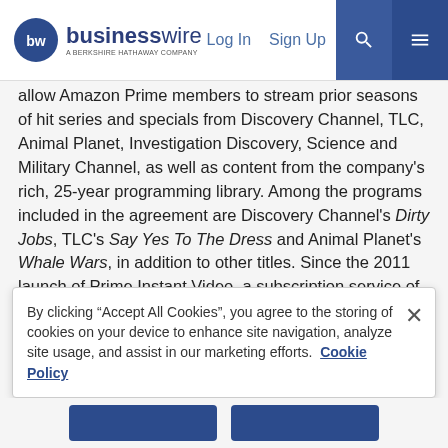businesswire — A BERKSHIRE HATHAWAY COMPANY | Log In | Sign Up
allow Amazon Prime members to stream prior seasons of hit series and specials from Discovery Channel, TLC, Animal Planet, Investigation Discovery, Science and Military Channel, as well as content from the company's rich, 25-year programming library. Among the programs included in the agreement are Discovery Channel's Dirty Jobs, TLC's Say Yes To The Dress and Animal Planet's Whale Wars, in addition to other titles. Since the 2011 launch of Prime Instant Video, a subscription service of Amazon Instant Video, Amazon has added more than 12,000 titles to bring the total title count to more than 17,000.
“Discovery Communications has always been a
By clicking “Accept All Cookies”, you agree to the storing of cookies on your device to enhance site navigation, analyze site usage, and assist in our marketing efforts. Cookie Policy